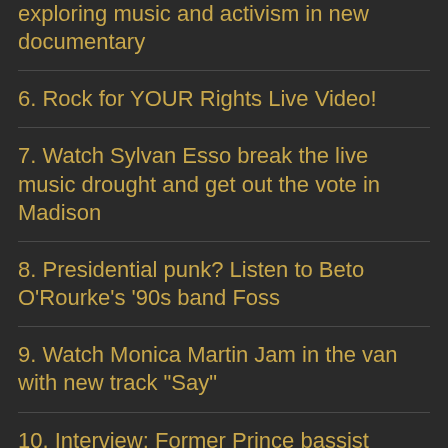exploring music and activism in new documentary
6. Rock for YOUR Rights Live Video!
7. Watch Sylvan Esso break the live music drought and get out the vote in Madison
8. Presidential punk? Listen to Beto O'Rourke's '90s band Foss
9. Watch Monica Martin Jam in the van with new track "Say"
10. Interview: Former Prince bassist Brown Mark on The Revolution reunion tour
11. Watch Violent Femmes in rare 1983